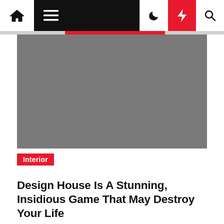Navigation bar with home, menu, moon, lightning, and search icons
[Figure (photo): Large gray placeholder image for article hero]
Interior
Design House Is A Stunning, Insidious Game That May Destroy Your Life
Hellen Wadman  3 years ago